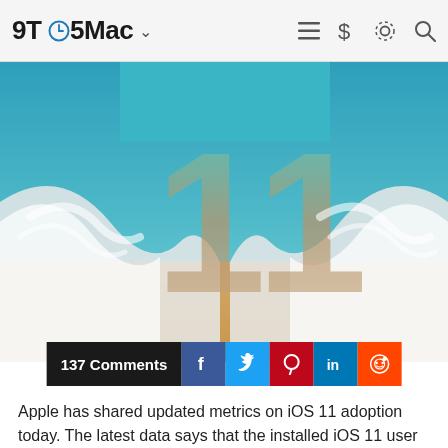9TO5Mac
[Figure (photo): iOS 11 wallpaper hero image showing aerial beach view with large '11' text overlay, teal/turquoise water and sandy beach]
137 Comments
[Figure (infographic): Social sharing buttons: Facebook (blue), Twitter (light blue), Pinterest (red), LinkedIn (blue), Reddit (orange)]
Apple has shared updated metrics on iOS 11 adoption today. The latest data says that the installed iOS 11 user base is more than double that of iOS 10 and that only 7% of users are running iOS 9 or earlier.